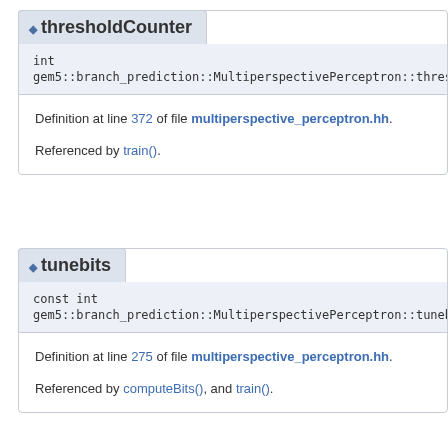◆ thresholdCounter
int
gem5::branch_prediction::MultiperspectivePerceptron::thresholdCoun
Definition at line 372 of file multiperspective_perceptron.hh.
Referenced by train().
◆ tunebits
const int
gem5::branch_prediction::MultiperspectivePerceptron::tunebits [protected]
Definition at line 275 of file multiperspective_perceptron.hh.
Referenced by computeBits(), and train().